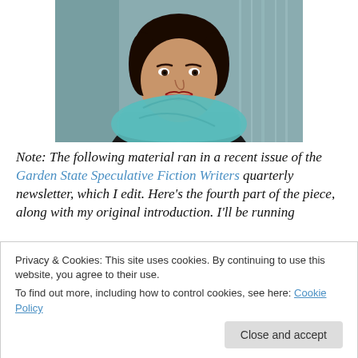[Figure (photo): Portrait photo of a smiling woman wearing a teal/turquoise scarf and black sleeveless top, photographed against a blurred background.]
Note: The following material ran in a recent issue of the Garden State Speculative Fiction Writers quarterly newsletter, which I edit. Here's the fourth part of the piece, along with my original introduction. I'll be running
Privacy & Cookies: This site uses cookies. By continuing to use this website, you agree to their use.
To find out more, including how to control cookies, see here: Cookie Policy